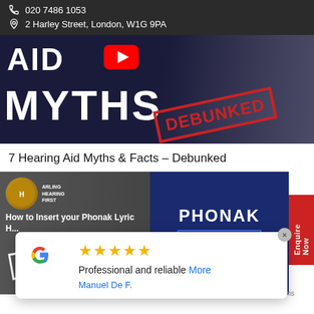020 7486 1053
2 Harley Street, London, W1G 9PA
[Figure (screenshot): YouTube-style video thumbnail showing 'AID MYTHS DEBUNKED' text on dark blue background with a red DEBUNKED stamp and a person in the background]
7 Hearing Aid Myths & Facts – Debunked
[Figure (screenshot): YouTube video thumbnail: 'How to Insert your Phonak Lyric H...' with SAFE! stamp on left, PHONAK LYRIC text on right blue panel]
Professional and reliable More
Manuel De F.